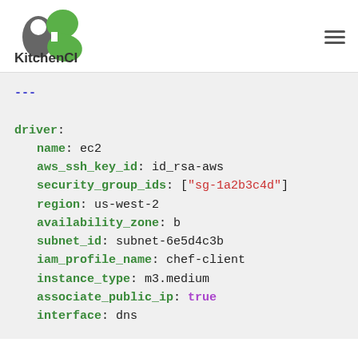[Figure (logo): KitchenCI logo with stylized green and grey icon and text 'KitchenCI']
---
driver:
  name: ec2
  aws_ssh_key_id: id_rsa-aws
  security_group_ids: ["sg-1a2b3c4d"]
  region: us-west-2
  availability_zone: b
  subnet_id: subnet-6e5d4c3b
  iam_profile_name: chef-client
  instance_type: m3.medium
  associate_public_ip: true
  interface: dns